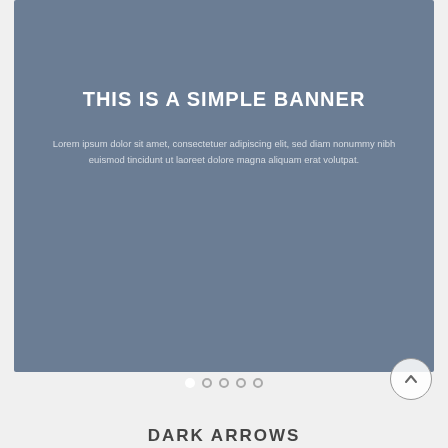[Figure (screenshot): A banner/slider UI element with a muted blue-grey background. Contains a bold white headline 'THIS IS A SIMPLE BANNER' and a paragraph of lorem ipsum text in lighter color. Below the banner are slideshow navigation dots (one filled white, four as outlines). A circular scroll-to-top arrow button appears at bottom right. Below the slider area is the beginning of a new section with text 'DARK ARROWS'.]
THIS IS A SIMPLE BANNER
Lorem ipsum dolor sit amet, consectetuer adipiscing elit, sed diam nonummy nibh euismod tincidunt ut laoreet dolore magna aliquam erat volutpat.
DARK ARROWS